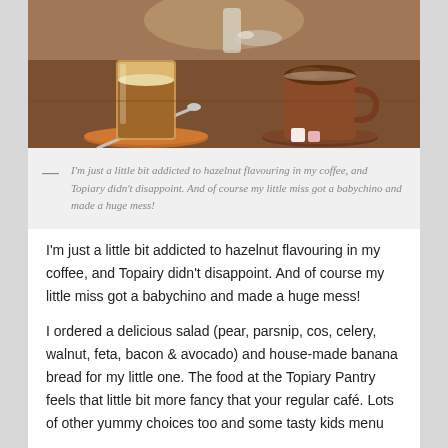[Figure (photo): Photo of two coffee cups on a wooden table — a tall latte in an orange/terracotta cup on a saucer with a spoon, and a cappuccino in a brown cup on a brown saucer with marshmallows, sugar cubes, and some small items in the background.]
— I'm just a little bit addicted to hazelnut flavouring in my coffee, and Topiary didn't disappoint. And of course my little miss got a babychino and made a huge mess!
I'm just a little bit addicted to hazelnut flavouring in my coffee, and Topairy didn't disappoint. And of course my little miss got a babychino and made a huge mess!
I ordered a delicious salad (pear, parsnip, cos, celery, walnut, feta, bacon & avocado) and house-made banana bread for my little one. The food at the Topiary Pantry feels that little bit more fancy that your regular café. Lots of other yummy choices too and some tasty kids menu